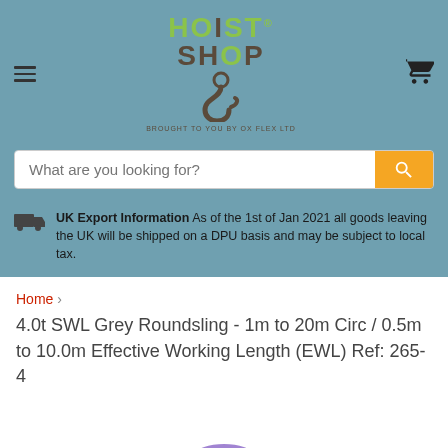[Figure (logo): Hoist Shop logo with hook graphic and 'BROUGHT TO YOU BY OX FLEX LTD' subtitle]
[Figure (screenshot): Search bar with placeholder text 'What are you looking for?' and orange search button]
UK Export Information As of the 1st of Jan 2021 all goods leaving the UK will be shipped on a DPU basis and may be subject to local tax.
Home > 4.0t SWL Grey Roundsling - 1m to 20m Circ / 0.5m to 10.0m Effective Working Length (EWL) Ref: 265-4
4.0t SWL Grey Roundsling - 1m to 20m Circ / 0.5m to 10.0m Effective Working Length (EWL) Ref: 265-4
[Figure (photo): Partial view of a purple/violet round sling product at the bottom of the page]